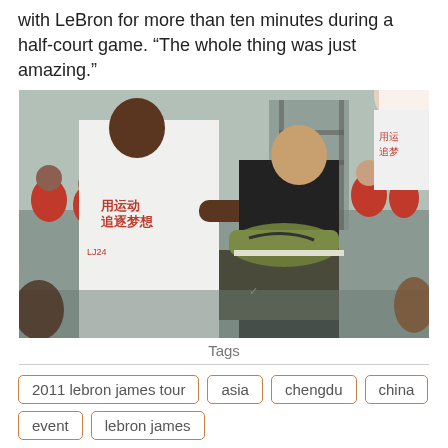with LeBron for more than ten minutes during a half-court game. “The whole thing was just amazing.”
[Figure (photo): LeBron James in white Nike t-shirt with Chinese characters shaking hands with a young Chinese man holding a Nike shoebox with a green Nike sneaker on top, at an outdoor event with crowd in background.]
Tags
2011 lebron james tour
asia
chengdu
china
event
lebron james